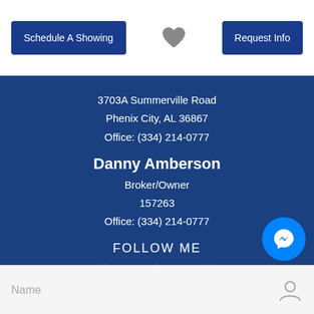Schedule A Showing | ♥ | Request Info
3703A Summerville Road
Phenix City, AL 36867
Office: (334) 214-0777
Danny Amberson
Broker/Owner
157263
Office: (334) 214-0777
FOLLOW ME
[Figure (illustration): Three social media icons in white circles on dark blue background: Facebook (f), LinkedIn (in), Instagram (camera icon)]
CONTACT
[Figure (illustration): Blue circular Messenger chat bubble button]
Name